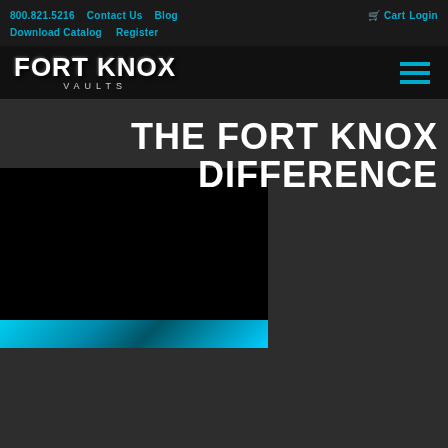800.821.5216  Contact Us  Blog  Cart  Login  Download Catalog  Register
[Figure (logo): Fort Knox Vaults logo with bold white text and subtitle 'VAULTS']
THE FORT KNOX DIFFERENCE
[Figure (photo): Dark video/photo box with cyan banner strip at bottom]